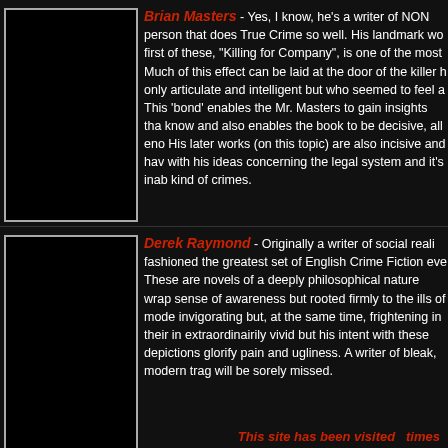Brian Masters - Yes, I know, he's a writer of NON person that does True Crime so well. His landmark wo first of these, "Killing for Company", is one of the most Much of this effect can be laid at the door of the killer h only articulate and intelligent but who seemed to feel a This 'bond' enables the Mr. Masters to gain insights tha know and also enables the book to be decisive, all eno His later works (on this topic) are also incisive and hav with his ideas concerning the legal system and it's inab kind of crimes.
[Figure (photo): Black photo placeholder box for Brian Masters]
Derek Raymond - Originally a writer of social reali fashioned the greatest set of English Crime Fiction eve These are novels of a deeply philosophical nature wrap sense of awareness but rooted firmly to the ills of mode invigorating but, at the same time, frightening in their in extraordinairily vivid but his intent with these depictions glorify pain and ugliness. A writer of bleak, modern trag will be sorely missed.
[Figure (photo): Black photo placeholder box for Derek Raymond]
This site has been visited  times